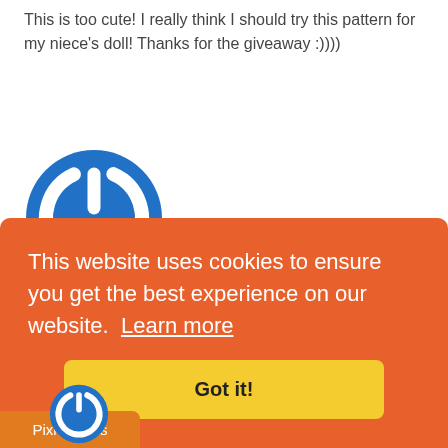This is too cute! I really think I should try this pattern for my niece's doll! Thanks for the giveaway :))))
[Figure (logo): Blue circular power button icon avatar]
Renee
July 12, 2018
I like the outfit on Logan. I hope to own him
This website uses cookies to ensure you get the best experience on our website. Learn more
Got it!
Pixie Perks